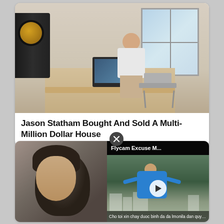[Figure (photo): Photo of a bald man sitting at a desk in a modern home office with speakers, monitor, and large window]
Jason Statham Bought And Sold A Multi-Million Dollar House
[Figure (photo): Left: close-up side profile of a young man's face. Right: video thumbnail showing a man in blue jacket with arms spread, subtitle text 'Cho toi xin chay duoc binh da da lmonila dan quy nhat', video title 'Flycam Excuse M...']